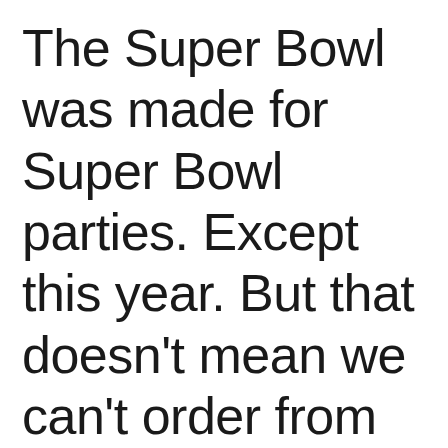The Super Bowl was made for Super Bowl parties. Except this year. But that doesn't mean we can't order from Uber Eats and party on. You know, like Wayne and Garth. Mike Myers and Dana